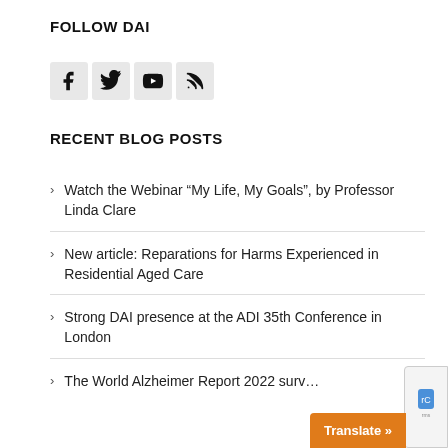FOLLOW DAI
[Figure (infographic): Social media icons: Facebook, Twitter, YouTube, RSS feed — each in a light grey square button]
RECENT BLOG POSTS
Watch the Webinar “My Life, My Goals”, by Professor Linda Clare
New article: Reparations for Harms Experienced in Residential Aged Care
Strong DAI presence at the ADI 35th Conference in London
The World Alzheimer Report 2022 surv…